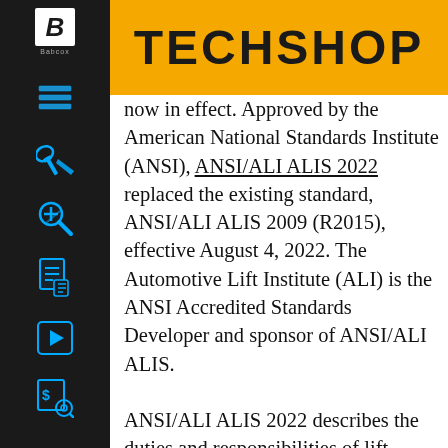TECHSHOP
now in effect. Approved by the American National Standards Institute (ANSI), ANSI/ALI ALIS 2022 replaced the existing standard, ANSI/ALI ALIS 2009 (R2015), effective August 4, 2022. The Automotive Lift Institute (ALI) is the ANSI Accredited Standards Developer and sponsor of ANSI/ALI ALIS.
ANSI/ALI ALIS 2022 describes the duties and responsibilities of lift installers and service technicians, including required qualifications, training, reporting and documentation. The 2022 standard is about 50% longer than the prior version. It adds expanded content addressing accessories, attachments, decommissioning and removal; a new section focused on the need for